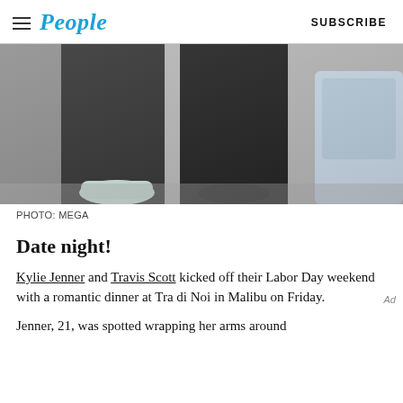People | SUBSCRIBE
[Figure (photo): Cropped photo showing legs and feet of two people walking, one wearing white sneakers and black pants, another wearing black dress shoes and black pants, with a light blue car visible on the right side.]
PHOTO: MEGA
Date night!
Kylie Jenner and Travis Scott kicked off their Labor Day weekend with a romantic dinner at Tra di Noi in Malibu on Friday.
Jenner, 21, was spotted wrapping her arms around